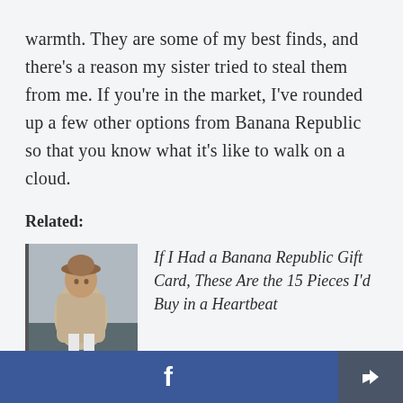warmth. They are some of my best finds, and there's a reason my sister tried to steal them from me. If you're in the market, I've rounded up a few other options from Banana Republic so that you know what it's like to walk on a cloud.
Related:
[Figure (photo): A woman wearing a beige shearling jacket and hat, photographed outdoors]
If I Had a Banana Republic Gift Card, These Are the 15 Pieces I'd Buy in a Heartbeat